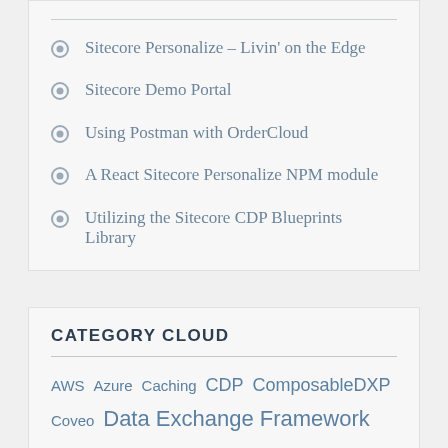Sitecore Personalize – Livin' on the Edge
Sitecore Demo Portal
Using Postman with OrderCloud
A React Sitecore Personalize NPM module
Utilizing the Sitecore CDP Blueprints Library
CATEGORY CLOUD
AWS  Azure  Caching  CDP  ComposableDXP  Coveo  Data Exchange Framework  Docker  e-commerce  GDPR  Grafana  JMeter  MACH  Message Queues  Monitoring  OrderCloud  PAAS  Performance Testing  Personalize  Postman